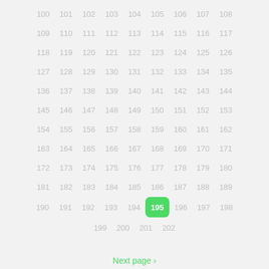100 101 102 103 104 105 106 107 108
109 110 111 112 113 114 115 116 117
118 119 120 121 122 123 124 125 126
127 128 129 130 131 132 133 134 135
136 137 138 139 140 141 142 143 144
145 146 147 148 149 150 151 152 153
154 155 156 157 158 159 160 161 162
163 164 165 166 167 168 169 170 171
172 173 174 175 176 177 178 179 180
181 182 183 184 185 186 187 188 189
190 191 192 193 194 195 196 197 198
199 200 201 202
Next page >